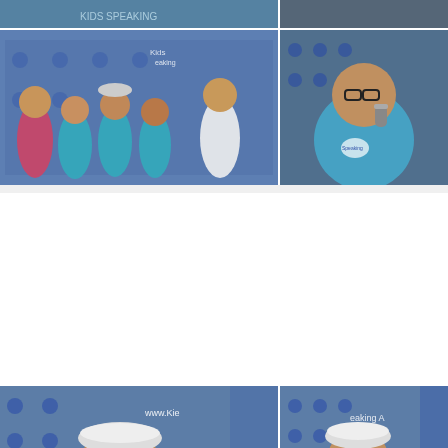[Figure (photo): Top strip photo: partial view of children at Johan Speaking Academy event with banner visible]
[Figure (photo): Group photo of children and adult in blue Johan Speaking Academy t-shirts posed in front of branded banner]
[Figure (photo): Close-up of boy with glasses wearing blue t-shirt holding microphone, speaking at Johan Speaking Academy event]
[Figure (photo): Boy with glasses and white cap holding microphone, speaking at Johan Speaking Academy backdrop]
[Figure (photo): Young girl with cap holding microphone, speaking at Johan Speaking Academy Tour Guide event, banner visible]
[Figure (photo): Young girl with white cap in pink shirt and dark overalls holding microphone, performing at Johan Speaking Academy]
[Figure (photo): Partial photo of young girl with cap at Johan Speaking Academy event, bottom of page]